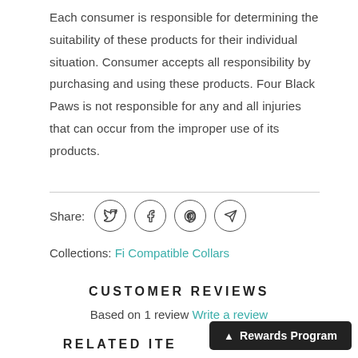Each consumer is responsible for determining the suitability of these products for their individual situation. Consumer accepts all responsibility by purchasing and using these products. Four Black Paws is not responsible for any and all injuries that can occur from the improper use of its products.
Share:
Collections: Fi Compatible Collars
CUSTOMER REVIEWS
Based on 1 review Write a review
RELATED ITE
Rewards Program